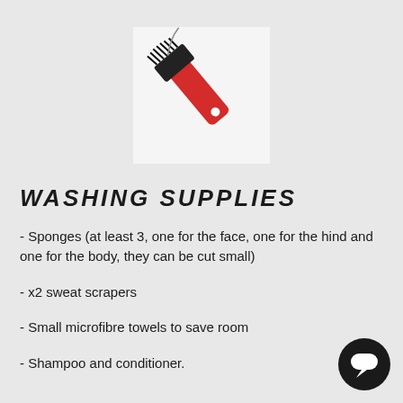[Figure (photo): A red-handled cleaning brush with black bristles, shown against a white background square.]
WASHING SUPPLIES
- Sponges (at least 3, one for the face, one for the hind and one for the body, they can be cut small)
- x2 sweat scrapers
- Small microfibre towels to save room
- Shampoo and conditioner.
[Figure (illustration): A black circular chat/messenger button icon with a white speech bubble in the center, positioned bottom-right corner.]